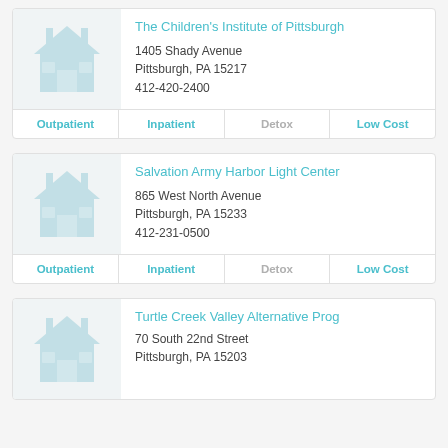The Children's Institute of Pittsburgh
1405 Shady Avenue
Pittsburgh, PA 15217
412-420-2400
| Outpatient | Inpatient | Detox | Low Cost |
| --- | --- | --- | --- |
Salvation Army Harbor Light Center
865 West North Avenue
Pittsburgh, PA 15233
412-231-0500
| Outpatient | Inpatient | Detox | Low Cost |
| --- | --- | --- | --- |
Turtle Creek Valley Alternative Prog
70 South 22nd Street
Pittsburgh, PA 15203